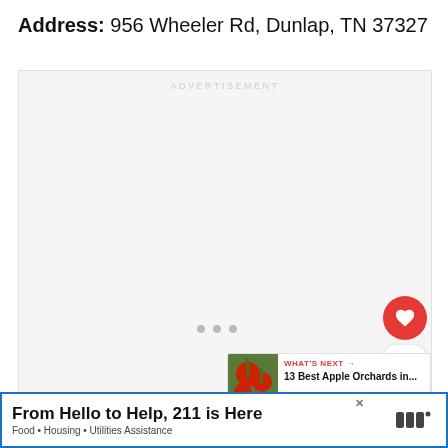Address: 956 Wheeler Rd, Dunlap, TN 37327
[Figure (screenshot): Advertisement placeholder area with light gray background and 'ADVERTISEMENT' label, three navigation dots, a red heart/favorite button, count badge showing 5, a share button, and a 'What's Next' panel showing '13 Best Apple Orchards in...']
[Figure (other): Bottom advertisement banner: 'From Hello to Help, 211 is Here' with subtitle 'Food • Housing • Utilities Assistance' and a close button]